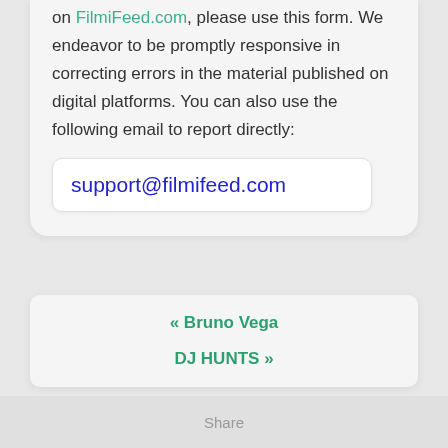on FilmiFeed.com, please use this form. We endeavor to be promptly responsive in correcting errors in the material published on digital platforms. You can also use the following email to report directly:
support@filmifeed.com
« Bruno Vega
DJ HUNTS »
Share